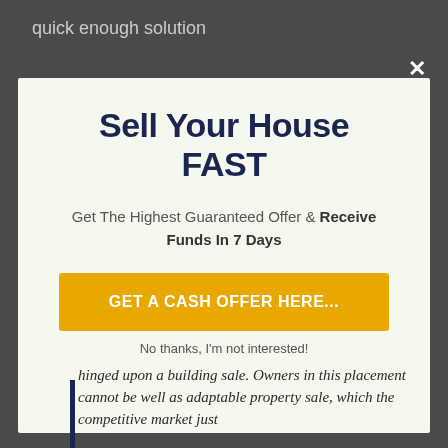quick enough solution
Sell Your House FAST
Get The Highest Guaranteed Offer & Receive Funds In 7 Days
GET A CASH OFFER HERE...
No thanks, I'm not interested!
hinged upon a building sale. Owners in this placement cannot be well as adaptable property sale, which the competitive market just